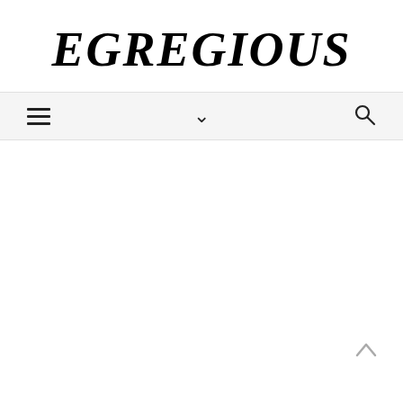EGREGIOUS
[Figure (screenshot): Navigation bar with hamburger menu icon on left, chevron/dropdown icon in center, and search icon on right, on a light gray background]
[Figure (other): Back to top arrow icon (upward chevron) in the bottom right of the content area]